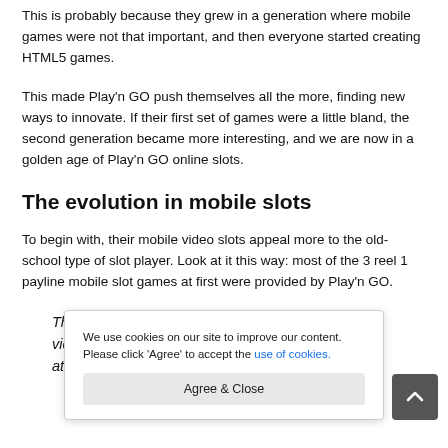This is probably because they grew in a generation where mobile games were not that important, and then everyone started creating HTML5 games.
This made Play'n GO push themselves all the more, finding new ways to innovate. If their first set of games were a little bland, the second generation became more interesting, and we are now in a golden age of Play'n GO online slots.
The evolution in mobile slots
To begin with, their mobile video slots appeal more to the old-school type of slot player. Look at it this way: most of the 3 reel 1 payline mobile slot games at first were provided by Play'n GO.
That a…nge of video s…ay attenti…